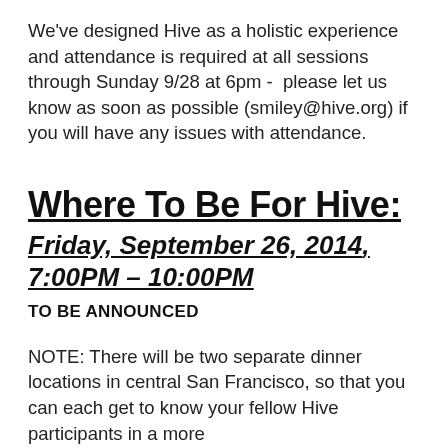We've designed Hive as a holistic experience and attendance is required at all sessions through Sunday 9/28 at 6pm -  please let us know as soon as possible (smiley@hive.org) if you will have any issues with attendance.
Where To Be For Hive:
Friday, September 26, 2014, 7:00PM – 10:00PM
TO BE ANNOUNCED
NOTE: There will be two separate dinner locations in central San Francisco, so that you can each get to know your fellow Hive participants in a more